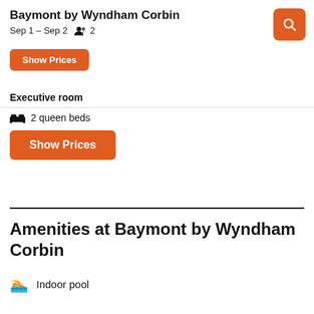Baymont by Wyndham Corbin
Sep 1 – Sep 2  2
Show Prices
Executive room
2 queen beds
Show Prices
Amenities at Baymont by Wyndham Corbin
Indoor pool